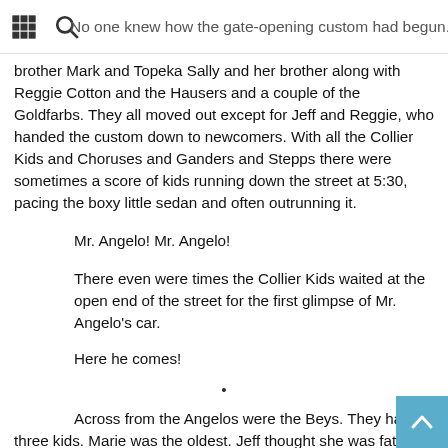No one knew how the gate-opening custom had begun. Billy began to night it to left and in those days it was Jeff and Billy and his brother Mark and Topeka Sally and her brother along with Reggie Cotton and the Hausers and a couple of the Goldfarbs.
brother Mark and Topeka Sally and her brother along with Reggie Cotton and the Hausers and a couple of the Goldfarbs. They all moved out except for Jeff and Reggie, who handed the custom down to newcomers. With all the Collier Kids and Choruses and Ganders and Stepps there were sometimes a score of kids running down the street at 5:30, pacing the boxy little sedan and often outrunning it.
Mr. Angelo! Mr. Angelo!
There even were times the Collier Kids waited at the open end of the street for the first glimpse of Mr. Angelo's car.
Here he comes!
•
Across from the Angelos were the Beys. They had three kids. Marie was the oldest. Jeff thought she was fat and ugly and he did not like her. She thought herself fat and ugly and she did not like